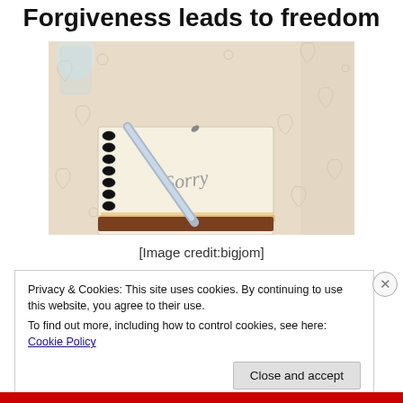Forgiveness leads to freedom
[Figure (photo): A spiral-bound notebook with 'Sorry' written in cursive on its open page, with a silver pen resting on top, placed on a decorative tablecloth with heart and floral patterns.]
[Image credit:bigjom]
Privacy & Cookies: This site uses cookies. By continuing to use this website, you agree to their use.
To find out more, including how to control cookies, see here: Cookie Policy
Close and accept